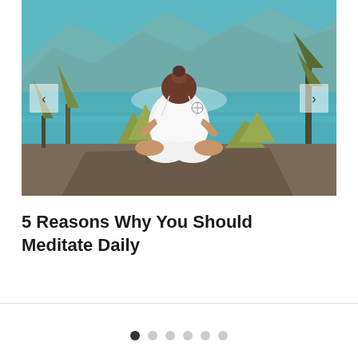[Figure (photo): Woman with bun hairstyle and dreamcatcher tattoo on shoulder, wearing white tank top, sitting cross-legged on a rock, viewed from behind, overlooking a turquoise mountain lake surrounded by trees and rocky mountains.]
5 Reasons Why You Should Meditate Daily